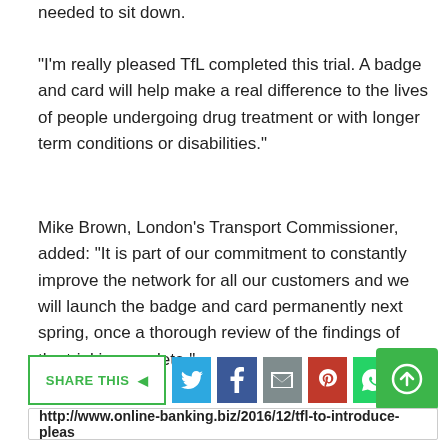needed to sit down.
“I’m really pleased TfL completed this trial. A badge and card will help make a real difference to the lives of people undergoing drug treatment or with longer term conditions or disabilities.”
Mike Brown, London’s Transport Commissioner, added: “It is part of our commitment to constantly improve the network for all our customers and we will launch the badge and card permanently next spring, once a thorough review of the findings of the trial is complete.”
SHARE THIS ⊲ [Twitter] [Facebook] [Email] [Pinterest] [WhatsApp] [+]
http://www.online-banking.biz/2016/12/tfl-to-introduce-pleas